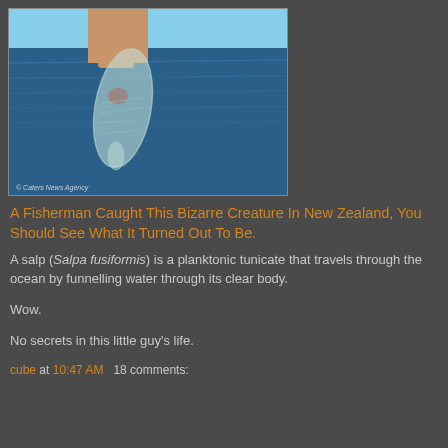[Figure (photo): A hand holding a transparent, gelatinous salp creature (Salpa fusiformis) against a blue ocean background. The creature is clear/translucent with visible internal organs. Copyright Caters News Agency watermark visible.]
A Fisherman Caught This Bizarre Creature In New Zealand, You Should See What It Turned Out To Be.
A salp (Salpa fusiformis) is a planktonic tunicate that travels through the ocean by funnelling water through its clear body.
Wow.
No secrets in this little guy's life.
cube at 10:47 AM   18 comments: